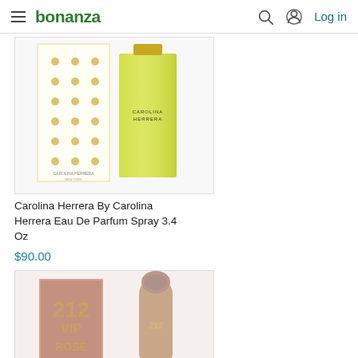bonanza — Log in
[Figure (photo): Carolina Herrera perfume bottle (yellow/green liquid) with white and gold polka dot box]
Carolina Herrera By Carolina Herrera Eau De Parfum Spray 3.4 Oz
$90.00
[Figure (photo): 212 VIP Rosé perfume box and bottle in rose gold/nude tones]